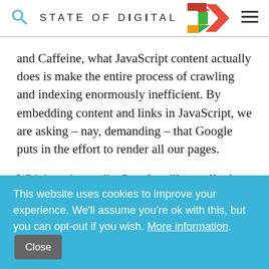STATE OF DIGITAL
and Caffeine, what JavaScript content actually does is make the entire process of crawling and indexing enormously inefficient. By embedding content and links in JavaScript, we are asking – nay, demanding – that Google puts in the effort to render all our pages.
Which, to its credit, Google will actually do. But that takes time, and a lot of interplay between the
This website uses cookies to improve your experience. We'll assume you're ok with this, but you can opt-out if you wish. More information. Close